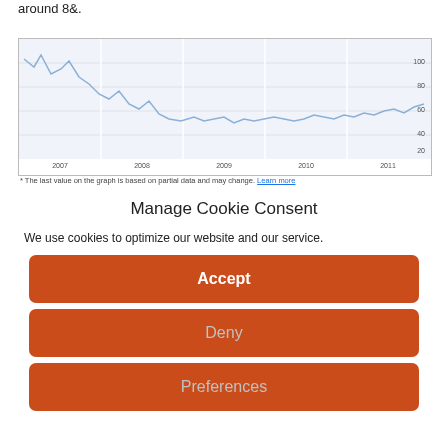around 8&.
[Figure (line-chart): Line chart showing trend data over years 2007-2011, with y-axis values from 0 to 100. The line starts high around 80-90, declines overall to around 40 by 2011, with fluctuations throughout.]
* The last value on the graph is based on partial data and may change. Learn more
Manage Cookie Consent
We use cookies to optimize our website and our service.
Accept
Deny
Preferences